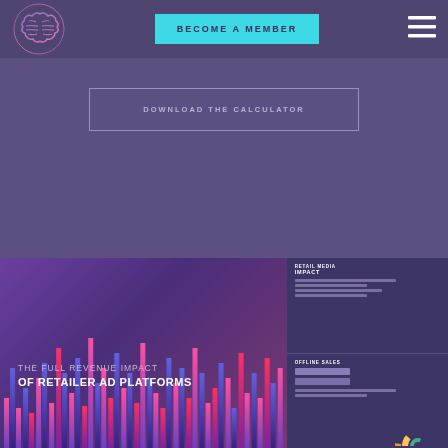[Figure (logo): Brain/neural network logo icon in purple/pink gradient]
BECOME A MEMBER
[Figure (other): Hamburger menu icon (three horizontal white lines)]
DOWNLOAD THE CALCULATOR
[Figure (infographic): Preview thumbnail of 'The Full Revenue Impact of Retailer Ad Platforms' infographic showing a bar chart on the left panel and a donut/rainbow chart with offline sales section on the right panel]